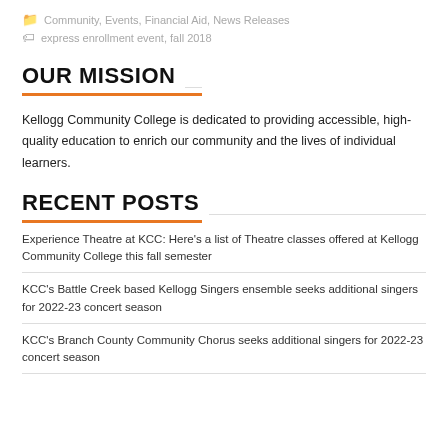Community, Events, Financial Aid, News Releases
express enrollment event, fall 2018
OUR MISSION
Kellogg Community College is dedicated to providing accessible, high-quality education to enrich our community and the lives of individual learners.
RECENT POSTS
Experience Theatre at KCC: Here's a list of Theatre classes offered at Kellogg Community College this fall semester
KCC's Battle Creek based Kellogg Singers ensemble seeks additional singers for 2022-23 concert season
KCC's Branch County Community Chorus seeks additional singers for 2022-23 concert season